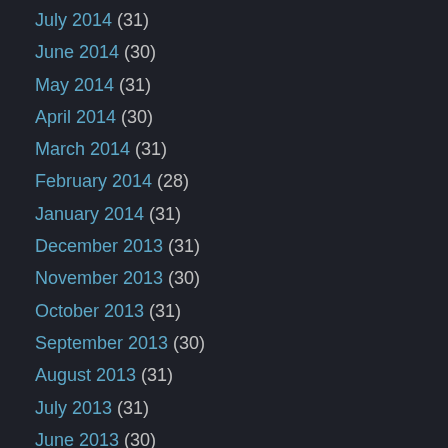July 2014 (31)
June 2014 (30)
May 2014 (31)
April 2014 (30)
March 2014 (31)
February 2014 (28)
January 2014 (31)
December 2013 (31)
November 2013 (30)
October 2013 (31)
September 2013 (30)
August 2013 (31)
July 2013 (31)
June 2013 (30)
May 2013 (31)
April 2013 (30)
March 2013 (31)
February 2013 (28)